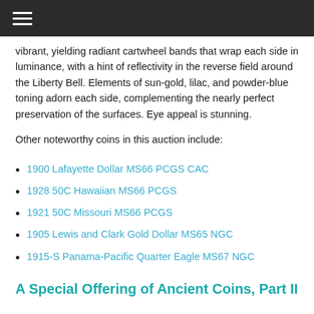☰
vibrant, yielding radiant cartwheel bands that wrap each side in luminance, with a hint of reflectivity in the reverse field around the Liberty Bell. Elements of sun-gold, lilac, and powder-blue toning adorn each side, complementing the nearly perfect preservation of the surfaces. Eye appeal is stunning.
Other noteworthy coins in this auction include:
1900 Lafayette Dollar MS66 PCGS CAC
1928 50C Hawaiian MS66 PCGS
1921 50C Missouri MS66 PCGS
1905 Lewis and Clark Gold Dollar MS65 NGC
1915-S Panama-Pacific Quarter Eagle MS67 NGC
A Special Offering of Ancient Coins, Part II